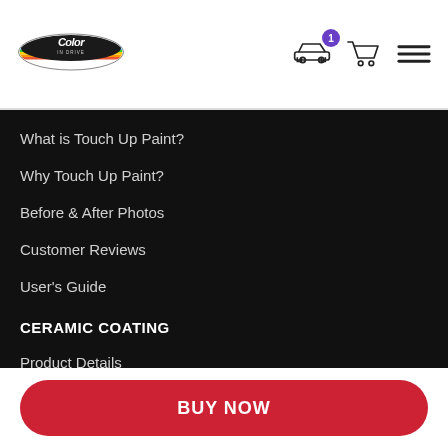[Figure (logo): Color In Drive logo — oval shaped with rainbow stripe and script text]
What is Touch Up Paint?
Why Touch Up Paint?
Before & After Photos
Customer Reviews
User's Guide
CERAMIC COATING
Product Details
Customer Reviews
SUPPORT
How Can I Find My Car Color Code?
Payment And Security
FAQ
BUY NOW